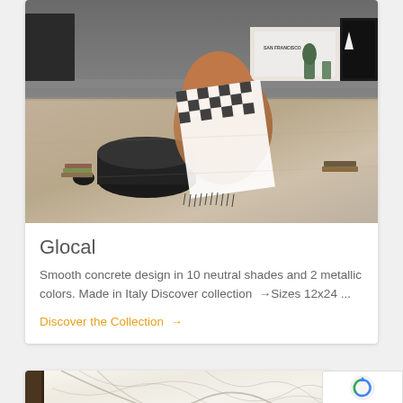[Figure (photo): Interior room photo showing a concrete-look tile floor with a brown lounge chair, black and white checkered blanket, decorative items on a shelf in background including plants, framed prints, and a 'San Francisco' sign]
Glocal
Smooth concrete design in 10 neutral shades and 2 metallic colors. Made in Italy Discover collection →Sizes 12x24 ...
Discover the Collection →
[Figure (photo): Partial view of marble-look tile in white with grey veining, with dark wood frame visible on left edge]